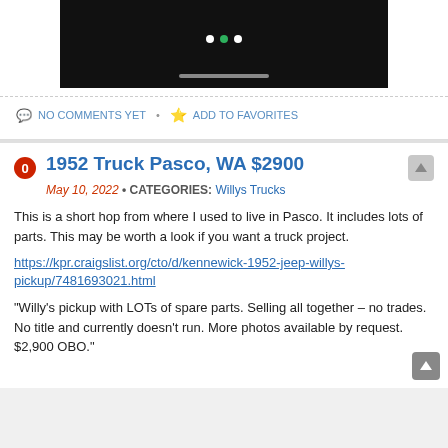[Figure (screenshot): Black image slider/gallery box with three dots (two white, one green) indicator and a gray scroll bar at the bottom]
NO COMMENTS YET • ADD TO FAVORITES
1952 Truck Pasco, WA $2900
May 10, 2022 • CATEGORIES: Willys Trucks
This is a short hop from where I used to live in Pasco. It includes lots of parts. This may be worth a look if you want a truck project.
https://kpr.craigslist.org/cto/d/kennewick-1952-jeep-willys-pickup/7481693021.html
“Willy’s pickup with LOTs of spare parts. Selling all together – no trades. No title and currently doesn’t run. More photos available by request. $2,900 OBO.”